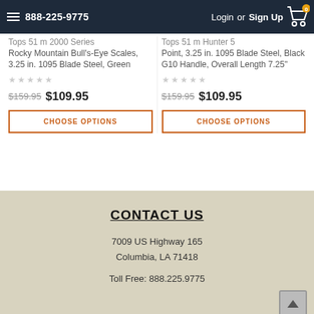888-225-9775  Login or Sign Up  0
Tops 51 m 2000 Series Rocky Mountain Bull's-Eye Scales, 3.25 in. 1095 Blade Steel, Green
$159.95  $109.95
CHOOSE OPTIONS
Tops 51 m Hunter 5 Point, 3.25 in. 1095 Blade Steel, Black G10 Handle, Overall Length 7.25"
$159.95  $109.95
CHOOSE OPTIONS
CONTACT US
7009 US Highway 165
Columbia, LA 71418

Toll Free: 888.225.9775